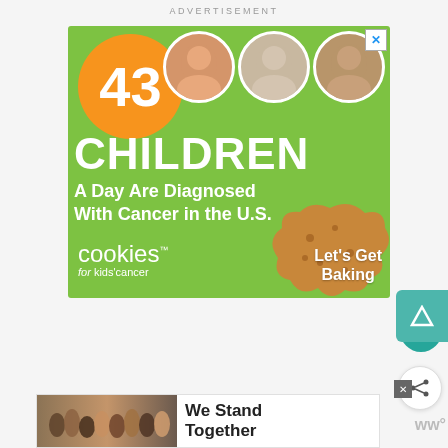ADVERTISEMENT
[Figure (illustration): Green advertisement banner for Cookies for Kids' Cancer. Features orange circle with '43', three circular photos of children, large white text '43 CHILDREN A Day Are Diagnosed With Cancer in the U.S.', Cookies for Kids' Cancer logo, and 'Let's Get Baking' call-to-action with cookie graphic.]
[Figure (illustration): Partial bottom advertisement banner showing group of people with arms around each other and text 'We Stand Together']